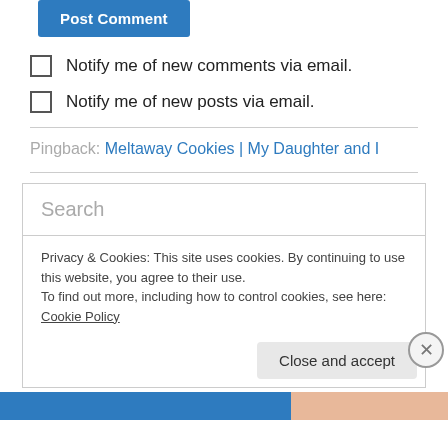[Figure (screenshot): Post Comment button (blue)]
Notify me of new comments via email.
Notify me of new posts via email.
Pingback: Meltaway Cookies | My Daughter and I
Search
Privacy & Cookies: This site uses cookies. By continuing to use this website, you agree to their use.
To find out more, including how to control cookies, see here: Cookie Policy
Close and accept